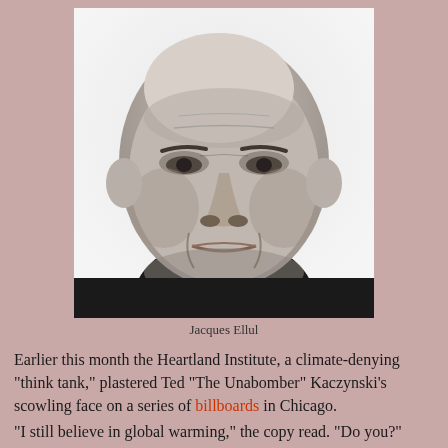[Figure (photo): Black and white portrait photograph of Jacques Ellul, an older balding man with a serious expression, wearing a dark shirt, looking slightly to the side.]
Jacques Ellul
Earlier this month the Heartland Institute, a climate-denying "think tank," plastered Ted "The Unabomber" Kaczynski's scowling face on a series of billboards in Chicago.
"I still believe in global warming," the copy read. "Do you?"